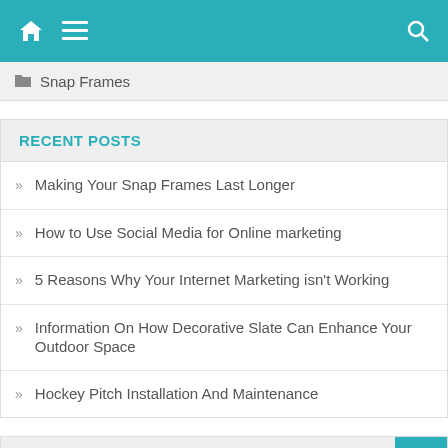[Figure (screenshot): Website navigation bar with teal background, home icon, hamburger menu icon on left, and search icon on right]
Snap Frames
RECENT POSTS
Making Your Snap Frames Last Longer
How to Use Social Media for Online marketing
5 Reasons Why Your Internet Marketing isn't Working
Information On How Decorative Slate Can Enhance Your Outdoor Space
Hockey Pitch Installation And Maintenance
TAGS